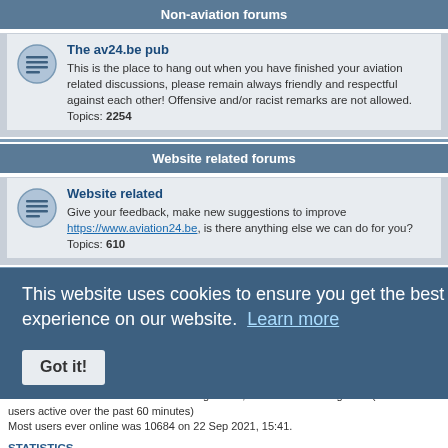Non-aviation forums
The av24.be pub
This is the place to hang out when you have finished your aviation related discussions, please remain always friendly and respectful against each other! Offensive and/or racist remarks are not allowed.
Topics: 2254
Website related forums
Website related
Give your feedback, make new suggestions to improve https://www.aviation24.be, is there anything else we can do for you?
Topics: 610
LOGIN • REGISTER
Username:
Password:
WHO IS ONLINE
In total there are 158 users online :: 6 registered, 0 hidden and 152 guests (based on users active over the past 60 minutes)
Most users ever online was 10684 on 22 Sep 2021, 15:41.
STATISTICS
This website uses cookies to ensure you get the best experience on our website. Learn more
Got it!